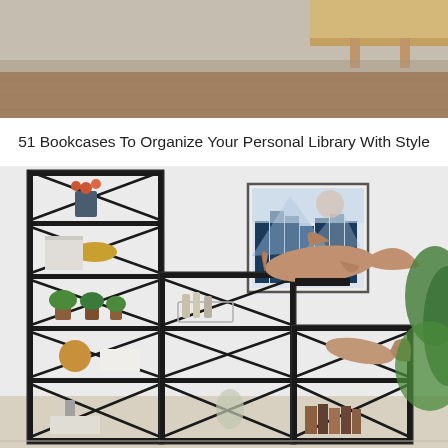[Figure (photo): Top portion of a room scene showing a wooden floating shelf on a gray wall with a brown floor visible at the bottom.]
51 Bookcases To Organize Your Personal Library With Style
[Figure (photo): A set of black metal open-frame bookcases arranged in a staircase configuration, decorated with plants, books, vases, baskets, and a large whale sculpture. A framed forest landscape art print hangs on the white wall behind the shelves. Green foliage visible on the right edge.]